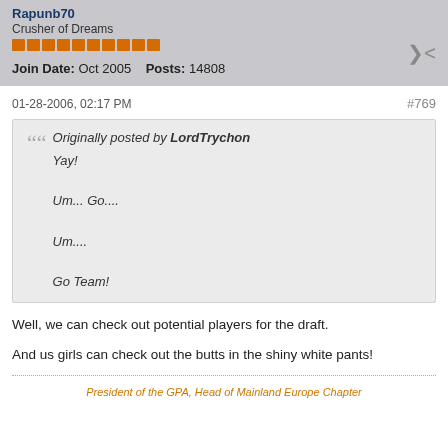Rapunb70
Crusher of Dreams
Join Date: Oct 2005    Posts: 14808
01-28-2006, 02:17 PM
#769
Originally posted by LordTrychon
Yay!

Um... Go....

Um....

Go Team!
Well, we can check out potential players for the draft.
And us girls can check out the butts in the shiny white pants!
President of the GPA, Head of Mainland Europe Chapter